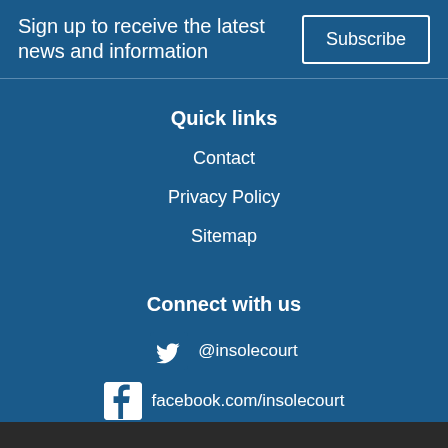Sign up to receive the latest news and information
Subscribe
Quick links
Contact
Privacy Policy
Sitemap
Connect with us
@insolecourt
facebook.com/insolecourt